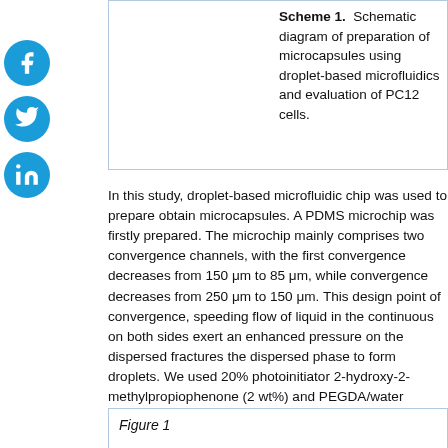Scheme 1. Schematic diagram of preparation of microcapsules using droplet-based microfluidics and evaluation of PC12 cells.
In this study, droplet-based microfluidic chip was used to prepare obtain microcapsules. A PDMS microchip was firstly prepared. The microchip mainly comprises two convergence channels, with the first convergence decreases from 150 μm to 85 μm, while the convergence decreases from 250 μm to 150 μm. This design point of convergence, speeding flow of liquid in the continuous phase on both sides exert an enhanced pressure on the dispersed phase fractures the dispersed phase to form droplets. We used 20% photoinitiator 2-hydroxy-2-methylpropiophenone (2 wt%) and PEGDA/water phases together form O/W droplets at the first convergence. After 405 nm ultraviolet light irradiation, the microcapsule emulsion solidified into a shell to form PEGDA microcapsules.
Figure 1